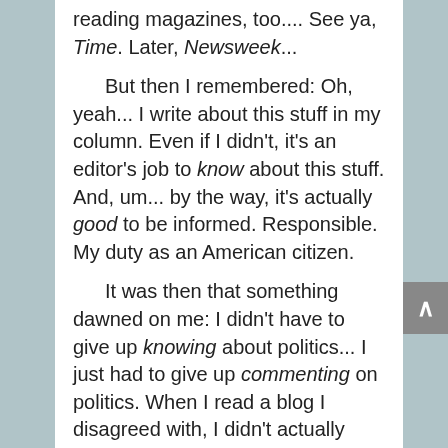reading magazines, too.... See ya, Time. Later, Newsweek...

    But then I remembered: Oh, yeah... I write about this stuff in my column. Even if I didn't, it's an editor's job to know about this stuff. And, um... by the way, it's actually good to be informed. Responsible. My duty as an American citizen.

    It was then that something dawned on me: I didn't have to give up knowing about politics... I just had to give up commenting on politics. When I read a blog I disagreed with, I didn't actually need to spend precious time crafting a careful, concise counter-argument to post before a bunch of strangers. And when I read a blog I did like,